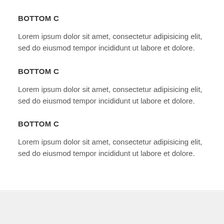BOTTOM C
Lorem ipsum dolor sit amet, consectetur adipisicing elit, sed do eiusmod tempor incididunt ut labore et dolore.
BOTTOM C
Lorem ipsum dolor sit amet, consectetur adipisicing elit, sed do eiusmod tempor incididunt ut labore et dolore.
BOTTOM C
Lorem ipsum dolor sit amet, consectetur adipisicing elit, sed do eiusmod tempor incididunt ut labore et dolore.